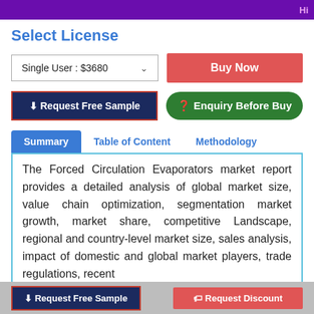Hi
Select License
Single User : $3680
Buy Now
⬇ Request Free Sample
❓ Enquiry Before Buy
Summary | Table of Content | Methodology
The Forced Circulation Evaporators market report provides a detailed analysis of global market size, value chain optimization, segmentation market growth, market share, competitive Landscape, regional and country-level market size, sales analysis, impact of domestic and global market players, trade regulations, recent
⬇ Request Free Sample   🏷 Request Discount